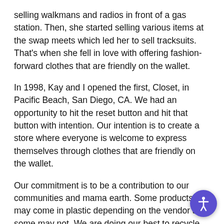selling walkmans and radios in front of a gas station. Then, she started selling various items at the swap meets which led her to sell tracksuits. That's when she fell in love with offering fashion-forward clothes that are friendly on the wallet.
In 1998, Kay and I opened the first, Closet, in Pacific Beach, San Diego, CA. We had an opportunity to hit the reset button and hit that button with intention. Our intention is to create a store where everyone is welcome to express themselves through clothes that are friendly on the wallet.
Our commitment is to be a contribution to our communities and mama earth. Some products may come in plastic depending on the vendor and some may not. We are doing our best to recycle, reuse and be plastic free. I have no idea what we can do about the plastic that is used in the fashion industry. If you have any ideas, I would love to partner up with you on making a global impact.
With every online purchase, CLOSET & our affiliates will contribute part of our proceeds to a chosen charitable organization.